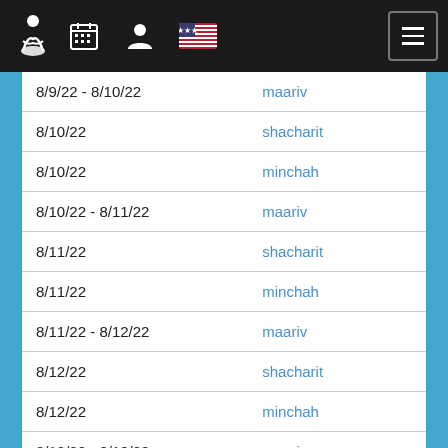Navigation bar with icons: person/meditation, calendar, user, flag, and hamburger menu
| Date | Service |
| --- | --- |
| 8/9/22 - 8/10/22 | maariv |
| 8/10/22 | shacharit |
| 8/10/22 | minchah |
| 8/10/22 - 8/11/22 | maariv |
| 8/11/22 | shacharit |
| 8/11/22 | minchah |
| 8/11/22 - 8/12/22 | maariv |
| 8/12/22 | shacharit |
| 8/12/22 | minchah |
| 8/12/22 - 8/13/22 | maariv |
| 8/13/22 | shacharit |
| 8/13/22 | minchah |